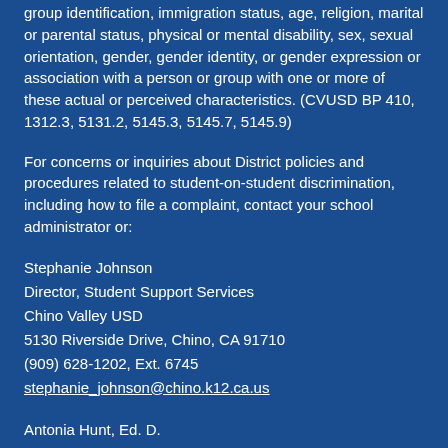group identification, immigration status, age, religion, marital or parental status, physical or mental disability, sex, sexual orientation, gender, gender identity, or gender expression or association with a person or group with one or more of these actual or perceived characteristics. (CVUSD BP 410, 1312.3, 5131.2, 5145.3, 5145.7, 5145.9)
For concerns or inquiries about District policies and procedures related to student-on-student discrimination, including how to file a complaint, contact your school administrator or:
Stephanie Johnson
Director, Student Support Services
Chino Valley USD
5130 Riverside Drive, Chino, CA 91710
(909) 628-1202, Ext. 6745
stephanie_johnson@chino.k12.ca.us
Antonia Hunt, Ed. D.
Coordinator, Equity, Diversity & Support Systems, Title IX Coordinator, District Coordinator for Nondiscrimination Regarding Student-On-Student Complaints
Chino Valley USD